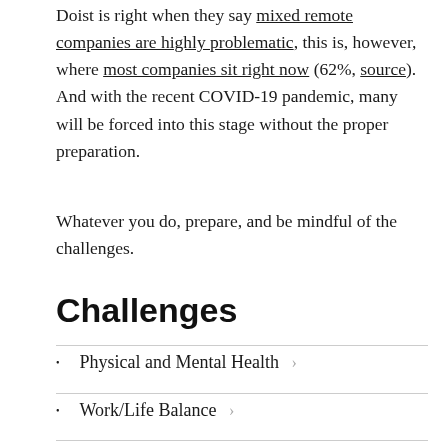Doist is right when they say mixed remote companies are highly problematic, this is, however, where most companies sit right now (62%, source). And with the recent COVID-19 pandemic, many will be forced into this stage without the proper preparation.
Whatever you do, prepare, and be mindful of the challenges.
Challenges
Physical and Mental Health
Work/Life Balance